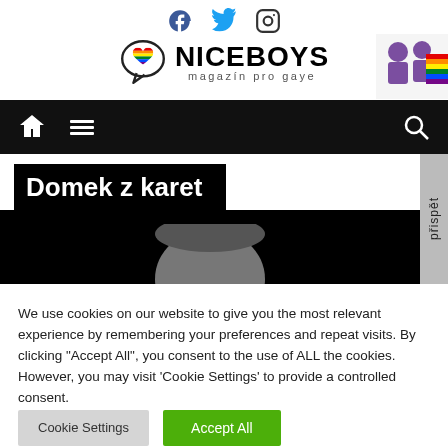NICEBOYS - magazín pro gaye
[Figure (logo): NiceBoys magazine logo with rainbow heart speech bubble and two men with pride flag]
[Figure (screenshot): Black navigation bar with home, menu, and search icons]
Domek z karet
[Figure (photo): Dark photo showing top of person's head against black background]
We use cookies on our website to give you the most relevant experience by remembering your preferences and repeat visits. By clicking "Accept All", you consent to the use of ALL the cookies. However, you may visit 'Cookie Settings' to provide a controlled consent.
Cookie Settings | Accept All